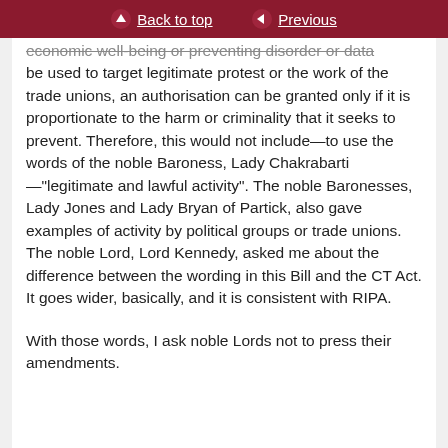Back to top | Previous
economic well-being or preventing disorder or data be used to target legitimate protest or the work of the trade unions, an authorisation can be granted only if it is proportionate to the harm or criminality that it seeks to prevent. Therefore, this would not include—to use the words of the noble Baroness, Lady Chakrabarti—"legitimate and lawful activity". The noble Baronesses, Lady Jones and Lady Bryan of Partick, also gave examples of activity by political groups or trade unions. The noble Lord, Lord Kennedy, asked me about the difference between the wording in this Bill and the CT Act. It goes wider, basically, and it is consistent with RIPA.
With those words, I ask noble Lords not to press their amendments.